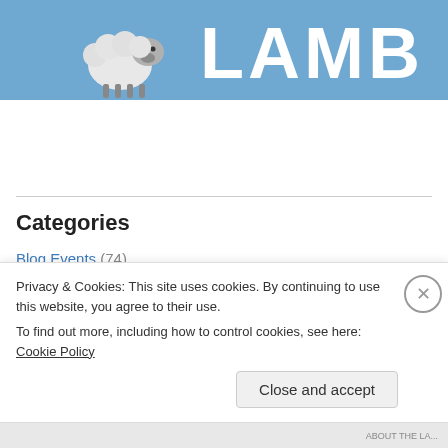[Figure (logo): LAMB website header banner with sheep cartoon and large white text 'LAMB' on blue background]
Categories
Blog Events (74)
10 for '10 (10)
Fincherfest (7)
Hitchcocked (4)
Marshall & Julie (14)
Nolan Marathon (7)
Privacy & Cookies: This site uses cookies. By continuing to use this website, you agree to their use. To find out more, including how to control cookies, see here: Cookie Policy
Close and accept